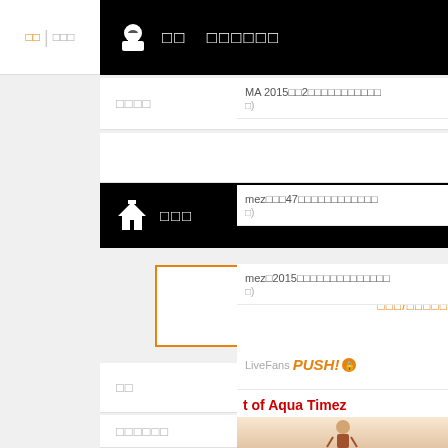☁ □□ □□□□□□
□□□□
⌂ □□□
□□/□□□□□□□□□□□
□□
□□□□□□
LiveFans PUSH!
□□□□□□□□□
□□□□
□□□□